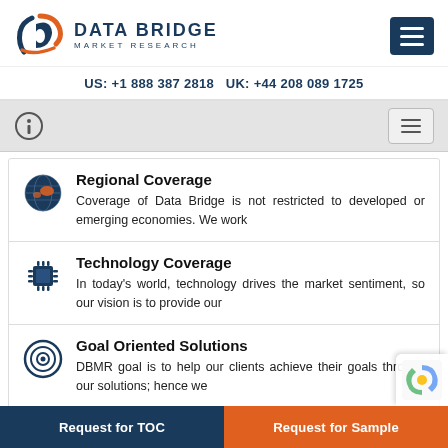DATA BRIDGE MARKET RESEARCH — US: +1 888 387 2818 UK: +44 208 089 1725
Regional Coverage
Coverage of Data Bridge is not restricted to developed or emerging economies. We work
Technology Coverage
In today's world, technology drives the market sentiment, so our vision is to provide our
Goal Oriented Solutions
DBMR goal is to help our clients achieve their goals through our solutions; hence we
Unparallel Analyst Support
Request for TOC   Request for Sample